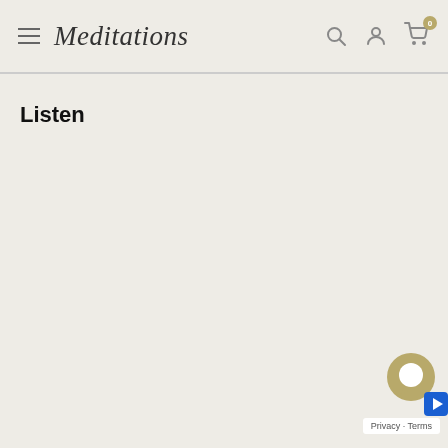Meditations — navigation header with hamburger menu, logo, search, account, and cart icons
Listen
[Figure (screenshot): Chat support widget icon (gold speech bubble) with a blue arrow/play indicator, and a small white pill showing 'Privacy · Terms']